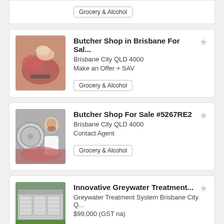Grocery & Alcohol (tag, top partial card)
Butcher Shop in Brisbane For Sal... | Brisbane City QLD 4000 | Make an Offer + SAV | Grocery & Alcohol
Butcher Shop For Sale #5267RE2 | Brisbane City QLD 4000 | Contact Agent | Grocery & Alcohol
Innovative Greywater Treatment... | Greywater Treatment System Brisbane City Q... | $99,000 (GST na)